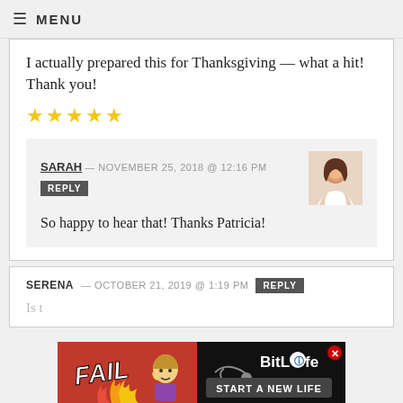≡ MENU
I actually prepared this for Thanksgiving — what a hit! Thank you!
[Figure (other): Five gold stars rating]
SARAH — NOVEMBER 25, 2018 @ 12:16 PM
REPLY
[Figure (photo): Avatar photo of Sarah, a woman with brown hair]
So happy to hear that! Thanks Patricia!
SERENA — OCTOBER 21, 2019 @ 1:19 PM  REPLY
Is t...
[Figure (advertisement): BitLife 'FAIL' advertisement banner — Start a new life]